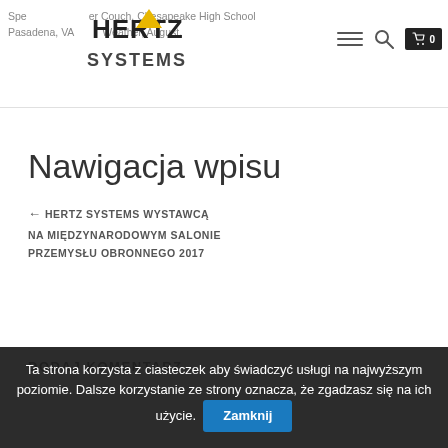Spe... er Couch, Chesapeake High School Pasadena, VA... Weather, August...
[Figure (logo): Hertz Systems logo with stylized HERTZ text and triangle above SYSTEMS text]
Nawigacja wpisu
← HERTZ SYSTEMS WYSTAWCĄ NA MIĘDZYNARODOWYM SALONIE PRZEMYSŁU OBRONNEGO 2017
DODAJ KOMENTARZ
Ta strona korzysta z ciasteczek aby świadczyć usługi na najwyższym poziomie. Dalsze korzystanie ze strony oznacza, że zgadzasz się na ich użycie. Zamknij